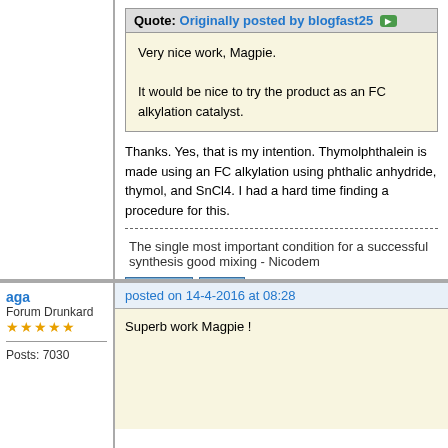Quote: Originally posted by blogfast25
Very nice work, Magpie.

It would be nice to try the product as an FC alkylation catalyst.
Thanks. Yes, that is my intention. Thymolphthalein is made using an FC alkylation using phthalic anhydride, thymol, and SnCl4. I had a hard time finding a procedure for this.
The single most important condition for a successful synthesis good mixing - Nicodem
aga
Forum Drunkard
★★★★★
Posts: 7030
posted on 14-4-2016 at 08:28
Superb work Magpie !